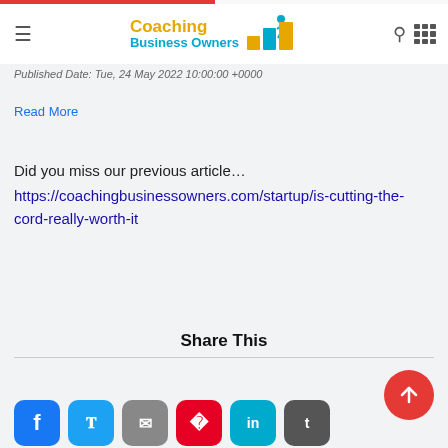Coaching Business Owners
Published Date: Tue, 24 May 2022 10:00:00 +0000
Read More
Did you miss our previous article… https://coachingbusinessowners.com/startup/is-cutting-the-cord-really-worth-it
Share This